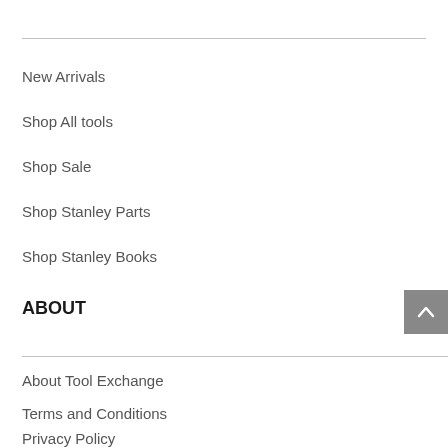New Arrivals
Shop All tools
Shop Sale
Shop Stanley Parts
Shop Stanley Books
ABOUT
About Tool Exchange
Terms and Conditions
Privacy Policy